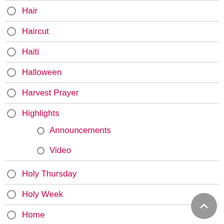Hair
Haircut
Haiti
Halloween
Harvest Prayer
Highlights
Announcements
Video
Holy Thursday
Holy Week
Home